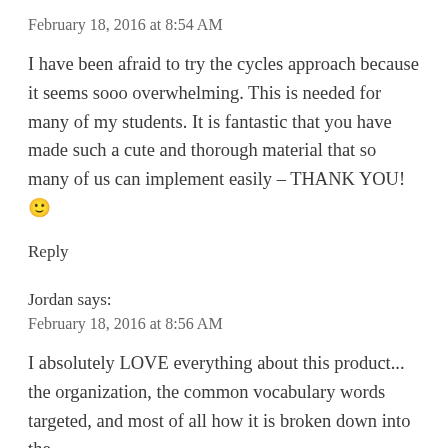February 18, 2016 at 8:54 AM
I have been afraid to try the cycles approach because it seems sooo overwhelming. This is needed for many of my students. It is fantastic that you have made such a cute and thorough material that so many of us can implement easily – THANK YOU! 🙂
Reply
Jordan says:
February 18, 2016 at 8:56 AM
I absolutely LOVE everything about this product... the organization, the common vocabulary words targeted, and most of all how it is broken down into the